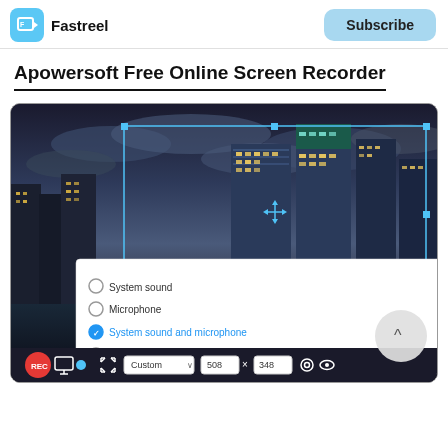Fastreel | Subscribe
Apowersoft Free Online Screen Recorder
[Figure (screenshot): Apowersoft Free Online Screen Recorder interface showing a city skyline at dusk with a recording control bar at the bottom, a selection overlay with handles, and an audio source popup menu showing options: System sound, Microphone, System sound and microphone (selected/checked in blue), None. The bottom toolbar shows REC button, controls, Custom dropdown, dimensions 508 x 348, settings and view icons.]